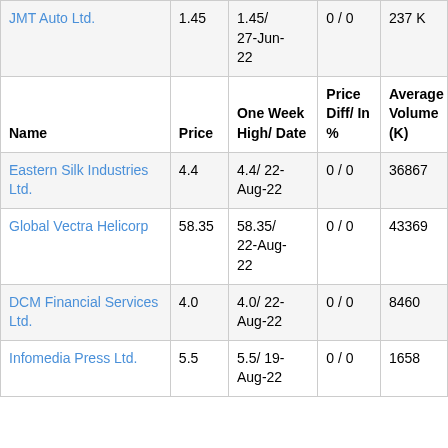| Name | Price | One Week High/ Date | Price Diff/ In % | Average Volume (K) |
| --- | --- | --- | --- | --- |
| JMT Auto Ltd. | 1.45 | 1.45/ 27-Jun-22 | 0 / 0 | 237 K |
|  |  | One Week High/ Date | Price Diff/ In % | Average Volume (K) |
| Name | Price |  |  |  |
| Eastern Silk Industries Ltd. | 4.4 | 4.4/ 22-Aug-22 | 0 / 0 | 36867 |
| Global Vectra Helicorp | 58.35 | 58.35/ 22-Aug-22 | 0 / 0 | 43369 |
| DCM Financial Services Ltd. | 4.0 | 4.0/ 22-Aug-22 | 0 / 0 | 8460 |
| Infomedia Press Ltd. | 5.5 | 5.5/ 19-Aug-22 | 0 / 0 | 1658 |